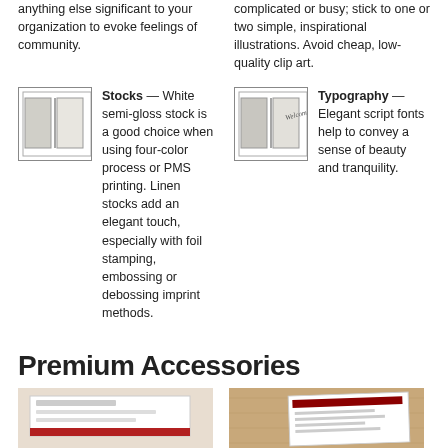anything else significant to your organization to evoke feelings of community.
complicated or busy; stick to one or two simple, inspirational illustrations. Avoid cheap, low-quality clip art.
[Figure (illustration): Line drawing of an open book/card, plain cover]
Stocks — White semi-gloss stock is a good choice when using four-color process or PMS printing. Linen stocks add an elegant touch, especially with foil stamping, embossing or debossing imprint methods.
[Figure (illustration): Line drawing of an open greeting card/book with 'Welcome' script inside]
Typography — Elegant script fonts help to convey a sense of beauty and tranquility.
Premium Accessories
[Figure (photo): Photo showing printed materials on a light background]
[Figure (photo): Photo showing documents/cards on a wooden surface]